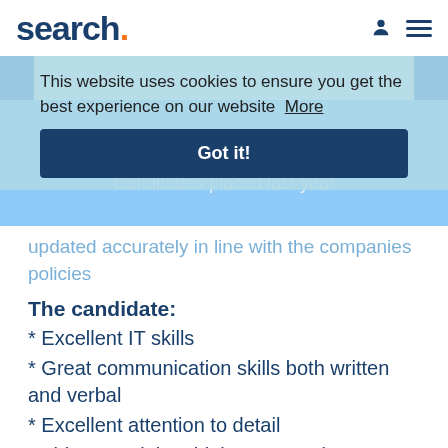search.
This website uses cookies to ensure you get the best experience on our website  More
Got it!
76,000+
Candidates placed last year
updated accurately in line with the companies policies
The candidate:
* Excellent IT skills
* Great communication skills both written and verbal
* Excellent attention to detail
* Able to work in a high pressured environment